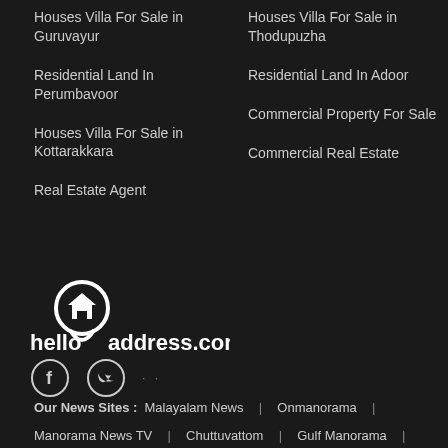Houses Villa For Sale in Guruvayur
Residential Land In Perumbavoor
Houses Villa For Sale in Kottarakkara
Real Estate Agent
Houses Villa For Sale in Thodupuzha
Residential Land In Adoor
Commercial Property For Sale
Commercial Real Estate
[Figure (logo): helloaddress.com logo with a map pin containing a house icon, with text 'hello address.com']
[Figure (illustration): Social media icons: Facebook and Twitter circles, plus additional dots]
Our News Sites : Malayalam News | Onmanorama |
Manorama News TV | Chuttuvattom | Gulf Manorama |